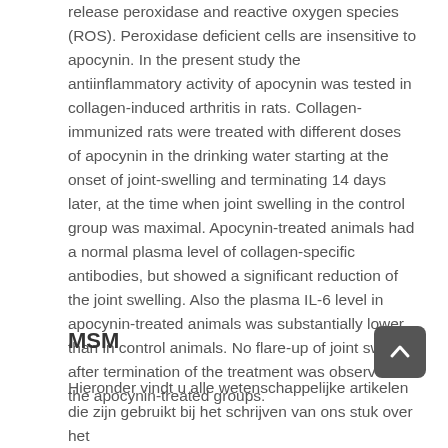release peroxidase and reactive oxygen species (ROS). Peroxidase deficient cells are insensitive to apocynin. In the present study the antiinflammatory activity of apocynin was tested in collagen-induced arthritis in rats. Collagen-immunized rats were treated with different doses of apocynin in the drinking water starting at the onset of joint-swelling and terminating 14 days later, at the time when joint swelling in the control group was maximal. Apocynin-treated animals had a normal plasma level of collagen-specific antibodies, but showed a significant reduction of the joint swelling. Also the plasma IL-6 level in apocynin-treated animals was substantially lower than in control animals. No flare-up of joint swelling after termination of the treatment was observed in the apocynin-treated groups.
MSM
Hieronder vindt u alle wetenschappelijke artikelen die zijn gebruikt bij het schrijven van ons stuk over het